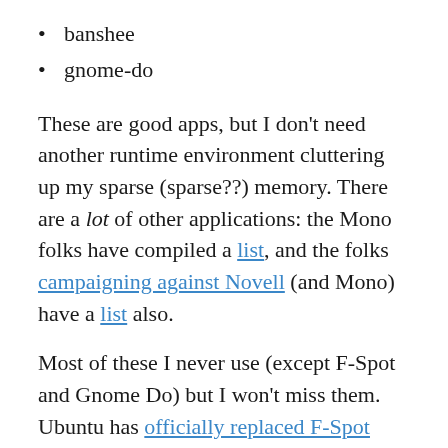banshee
gnome-do
These are good apps, but I don't need another runtime environment cluttering up my sparse (sparse??) memory. There are a lot of other applications: the Mono folks have compiled a list, and the folks campaigning against Novell (and Mono) have a list also.
Most of these I never use (except F-Spot and Gnome Do) but I won't miss them. Ubuntu has officially replaced F-Spot with Shotwell, and Gnome Do is not quite as good as the original Quicksilver (I've a Mac Mini with Quicksilver installed).